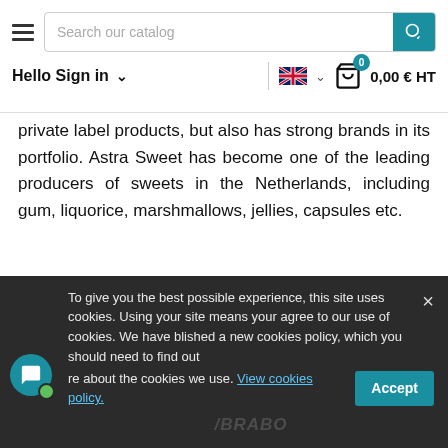Search our catalog | Hello Sign in | 0,00 € HT
private label products, but also has strong brands in its portfolio. Astra Sweet has become one of the leading producers of sweets in the Netherlands, including gum, liquorice, marshmallows, jellies, capsules etc.
27 products
Voir Les Produits
To give you the best possible experience, this site uses cookies. Using your site means your agree to our use of cookies. We have blished a new cookies policy, which you should need to find out re about the cookies we use. View cookies policy.